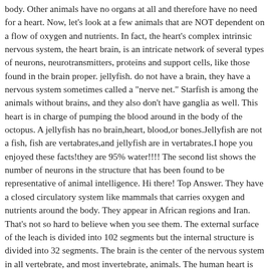body. Other animals have no organs at all and therefore have no need for a heart. Now, let's look at a few animals that are NOT dependent on a flow of oxygen and nutrients. In fact, the heart's complex intrinsic nervous system, the heart brain, is an intricate network of several types of neurons, neurotransmitters, proteins and support cells, like those found in the brain proper. jellyfish. do not have a brain, they have a nervous system sometimes called a "nerve net." Starfish is among the animals without brains, and they also don't have ganglia as well. This heart is in charge of pumping the blood around in the body of the octopus. A jellyfish has no brain,heart, blood,or bones.Jellyfish are not a fish, fish are vertabrates,and jellyfish are in vertabrates.I hope you enjoyed these facts!they are 95% water!!!! The second list shows the number of neurons in the structure that has been found to be representative of animal intelligence. Hi there! Top Answer. They have a closed circulatory system like mammals that carries oxygen and nutrients around the body. They appear in African regions and Iran. That's not so hard to believe when you see them. The external surface of the leach is divided into 102 segments but the internal structure is divided into 32 segments. The brain is the center of the nervous system in all vertebrate, and most invertebrate, animals. The human heart is about the size of a fist... and a cow's heart is the size of a